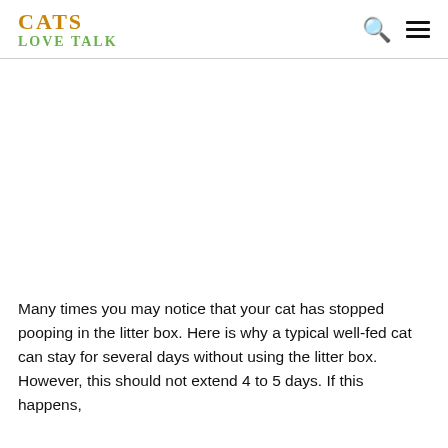CATS LOVE TALK
[Figure (photo): Large image area (white/blank placeholder) below the header navigation bar]
Many times you may notice that your cat has stopped pooping in the litter box. Here is why a typical well-fed cat can stay for several days without using the litter box. However, this should not extend 4 to 5 days. If this happens,